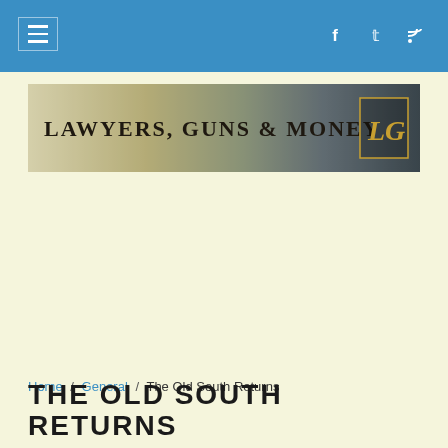≡  f  🐦  ⊕
[Figure (logo): Lawyers, Guns & Money website banner with LGM logo on right side, dark background with figures]
Home / General / The Old South Returns
THE OLD SOUTH RETURNS